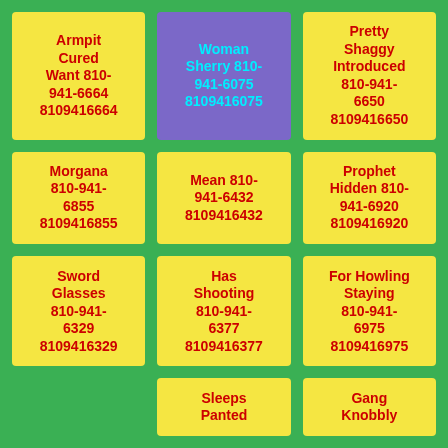Armpit Cured Want 810-941-6664 8109416664
Woman Sherry 810-941-6075 8109416075
Pretty Shaggy Introduced 810-941-6650 8109416650
Morgana 810-941-6855 8109416855
Mean 810-941-6432 8109416432
Prophet Hidden 810-941-6920 8109416920
Sword Glasses 810-941-6329 8109416329
Has Shooting 810-941-6377 8109416377
For Howling Staying 810-941-6975 8109416975
Sleeps Panted
Gang Knobbly